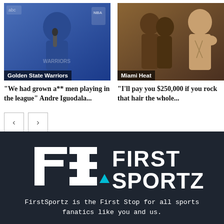[Figure (photo): Golden State Warriors press conference photo, player in Warriors jersey at microphone with NBA and ABC logos visible]
Golden State Warriors
[Figure (photo): Miami Heat related photo with two people and a shirtless fighter]
Miami Heat
“We had grown a** men playing in the league” Andre Iguodala...
“I’ll pay you $250,000 if you rock that hair the whole...
[Figure (logo): FirstSportz logo - FS letters with 'FIRST SPORTZ' text in white on dark background with cyan triangle accent]
FirstSportz is the First Stop for all sports fanatics like you and us.